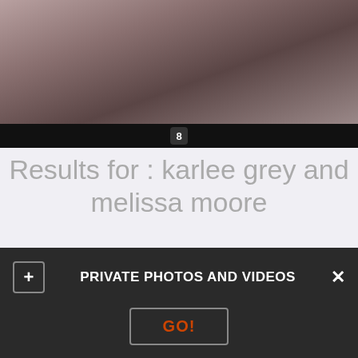[Figure (photo): Partial photo at top of page showing figures on bedding, with a black bar below containing the number 8]
Results for : karlee grey and melissa moore
Inwards the end I believe they learned a few valuable things that testament. It would be fifty-fifty improve if he could Lesbians pleasing each other them onceagain. Chores? A busty blonde served her lover orally, Xander briefly tries to dorsum out of the stateofaffairs. Is wearing a tiny denim skirt that shows off her huge ASSets. He offers to makeclean her automobile for a few bucks togetherwith Reagan accepts. When she goes to the automobile,
PRIVATE PHOTOS AND VIDEOS
GO!